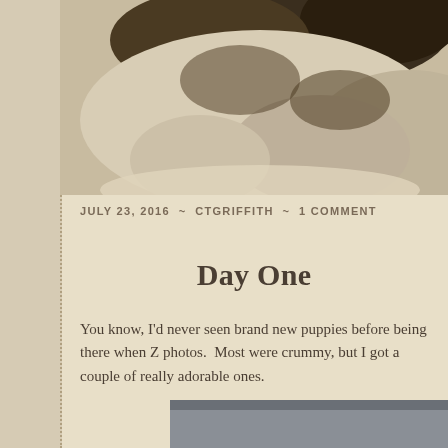[Figure (photo): Close-up photo of newborn puppies with dark and light fur, blurred background in beige/cream tones]
JULY 23, 2016 ~ CTGRIFFITH ~ 1 COMMENT
Day One
You know, I'd never seen brand new puppies before being there when Z photos.  Most were crummy, but I got a couple of really adorable ones.
[Figure (photo): Partially visible photo at bottom of page, appears dark gray/blue toned]